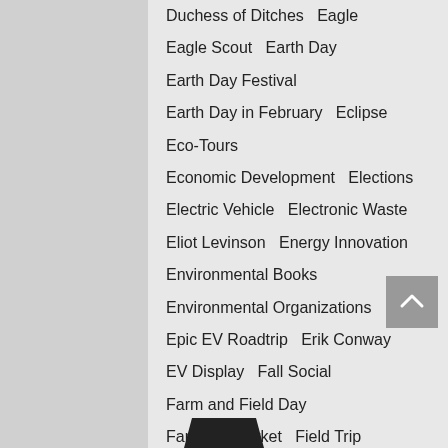Duchess of Ditches   Eagle
Eagle Scout   Earth Day
Earth Day Festival
Earth Day in February   Eclipse
Eco-Tours
Economic Development   Elections
Electric Vehicle   Electronic Waste
Eliot Levinson   Energy Innovation
Environmental Books
Environmental Organizations
Epic EV Roadtrip   Erik Conway
EV Display   Fall Social
Farm and Field Day
Farmers' Market   Field Trip